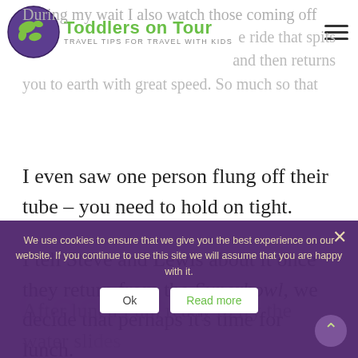Toddlers on Tour — Travel Tips for Travel with Kids
During my wait I also watch those coming off the ride that spits and then returns you to earth with great speed. So much so that I even saw one person flung off their tube – you need to hold on tight.
I tell Steve and Lewis about it once they return from the Superbowl, we decide that perhaps it's time for lunch.
After lunch I am ready to try the water slides again. We opt for the constructor which was
We use cookies to ensure that we give you the best experience on our website. If you continue to use this site we will assume that you are happy with it.